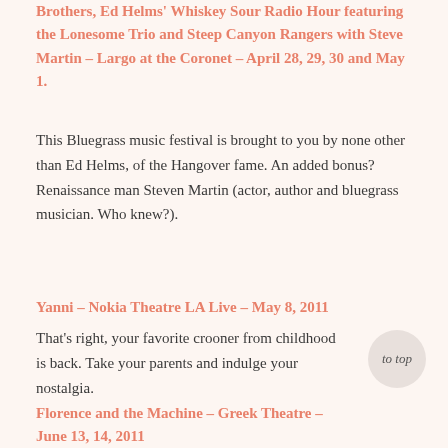Brothers, Ed Helms' Whiskey Sour Radio Hour featuring the Lonesome Trio and Steep Canyon Rangers with Steve Martin – Largo at the Coronet – April 28, 29, 30 and May 1.
This Bluegrass music festival is brought to you by none other than Ed Helms, of the Hangover fame. An added bonus? Renaissance man Steven Martin (actor, author and bluegrass musician. Who knew?).
Yanni – Nokia Theatre LA Live – May 8, 2011
That's right, your favorite crooner from childhood is back. Take your parents and indulge your nostalgia.
Florence and the Machine – Greek Theatre – June 13, 14, 2011